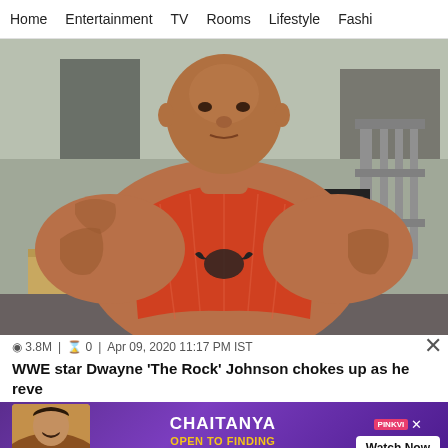Home | Entertainment | TV | Rooms | Lifestyle | Fashi
[Figure (photo): Dwayne 'The Rock' Johnson in a red workout tank top with bull logo, in a gym setting with equipment visible in background]
🔴 3.8M | 💬 0 | Apr 09, 2020 11:17 PM IST
WWE star Dwayne 'The Rock' Johnson chokes up as he reve
[Figure (screenshot): Advertisement banner: CHAITANYA - OPEN TO FINDING LOVE AGAIN? with Watch Now button and PINKVI logo, featuring a person in brown jacket]